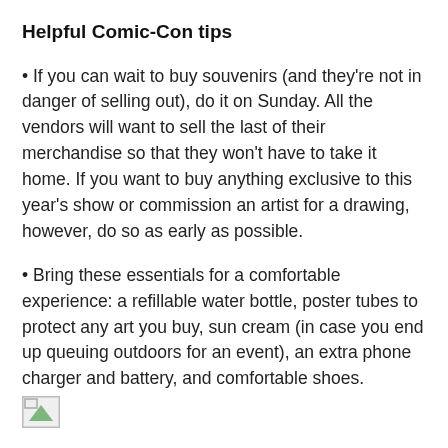Helpful Comic-Con tips
If you can wait to buy souvenirs (and they're not in danger of selling out), do it on Sunday. All the vendors will want to sell the last of their merchandise so that they won't have to take it home. If you want to buy anything exclusive to this year's show or commission an artist for a drawing, however, do so as early as possible.
Bring these essentials for a comfortable experience: a refillable water bottle, poster tubes to protect any art you buy, sun cream (in case you end up queuing outdoors for an event), an extra phone charger and battery, and comfortable shoes.
[Figure (illustration): Small broken/placeholder image icon]
When you need a break from the crowds, venture outside the main convention hall in the direction of some of the smaller panel rooms, and you'll find some relatively quiet corridors